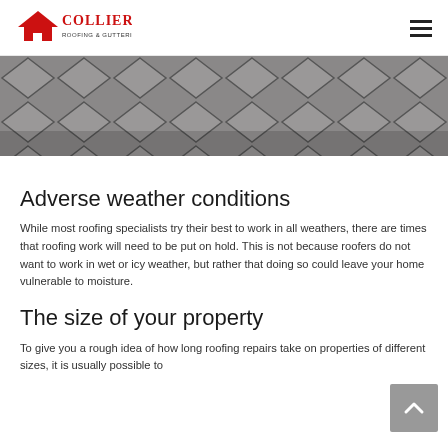Collier Roofing & Guttering
[Figure (photo): Close-up photograph of grey roofing tiles/slates arranged in a diamond pattern]
Adverse weather conditions
While most roofing specialists try their best to work in all weathers, there are times that roofing work will need to be put on hold. This is not because roofers do not want to work in wet or icy weather, but rather that doing so could leave your home vulnerable to moisture.
The size of your property
To give you a rough idea of how long roofing repairs take on properties of different sizes, it is usually possible to